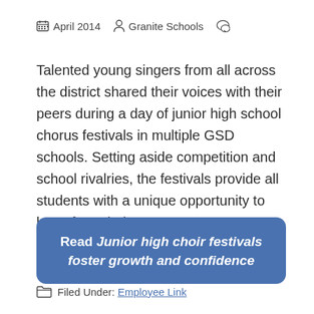April 2014   Granite Schools
Talented young singers from all across the district shared their voices with their peers during a day of junior high school chorus festivals in multiple GSD schools. Setting aside competition and school rivalries, the festivals provide all students with a unique opportunity to learn from their ...
Read Junior high choir festivals foster growth and confidence
Filed Under: Employee Link